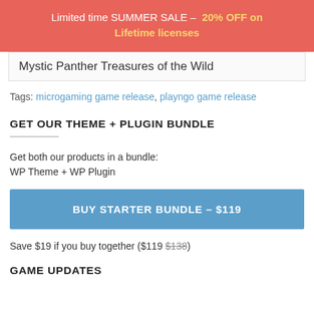Limited time SUMMER SALE – 20% OFF on Lifetime licenses
Mystic Panther Treasures of the Wild
Tags: microgaming game release, playngo game release
GET OUR THEME + PLUGIN BUNDLE
Get both our products in a bundle:
WP Theme + WP Plugin
BUY STARTER BUNDLE – $119
Save $19 if you buy together ($119 $138)
GAME UPDATES